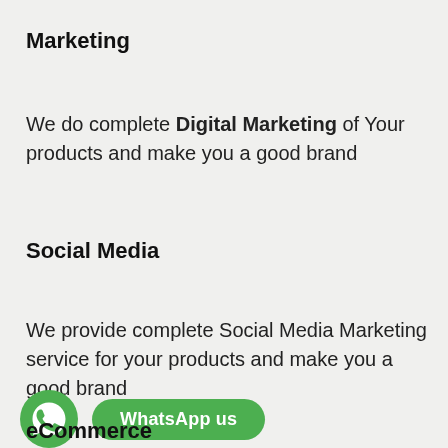Marketing
We do complete Digital Marketing of Your products and make you a good brand
Social Media
We provide complete Social Media Marketing service for your products and make you a good brand
[Figure (logo): WhatsApp green circle icon with phone handset, next to a green rounded-rectangle button labeled 'WhatsApp us']
eCommerce